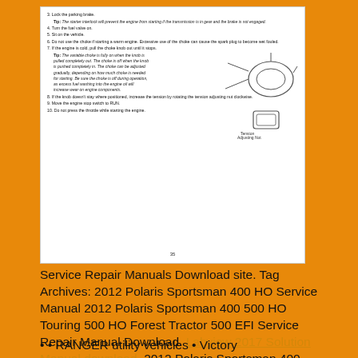[Figure (illustration): A scanned page from a Polaris service manual showing numbered instructions for engine starting procedure, including a diagram of a Tension Adjusting Nut component. Steps include locking parking brake, turning fuel valve, sitting on vehicle, choke usage, knob adjustment, and engine stop switch settings.]
Service Repair Manuals Download site. Tag Archives: 2012 Polaris Sportsman 400 HO Service Manual 2012 Polaris Sportsman 400 500 HO Touring 500 HO Forest Tractor 500 EFI Service Repair Manual Download. Labview 2017 Solution Manual download. 2012 Polaris Sportsman 400 Service Manual.pdf - No-IP.
• • RANGER utility vehicles • Victory